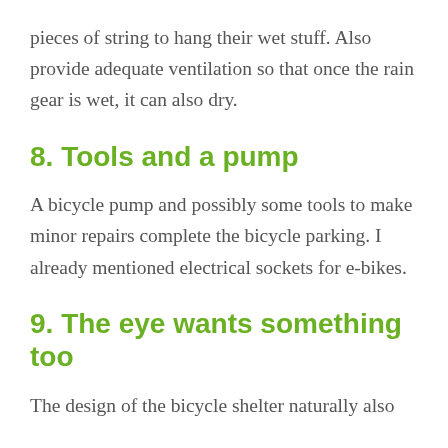pieces of string to hang their wet stuff. Also provide adequate ventilation so that once the rain gear is wet, it can also dry.
8. Tools and a pump
A bicycle pump and possibly some tools to make minor repairs complete the bicycle parking. I already mentioned electrical sockets for e-bikes.
9. The eye wants something too
The design of the bicycle shelter naturally also